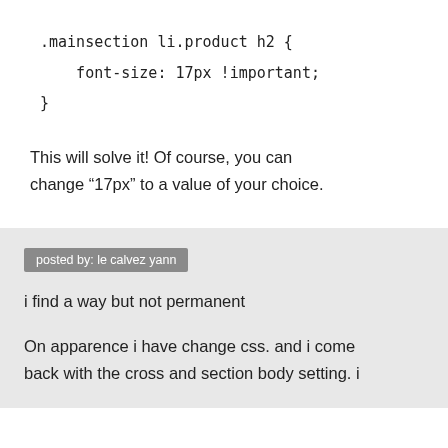.mainsection li.product h2 {
font-size: 17px !important;
}
This will solve it! Of course, you can change “17px” to a value of your choice.
posted by: le calvez yann
i find a way but not permanent
On apparence i have change css. and i come back with the cross and section body setting. i